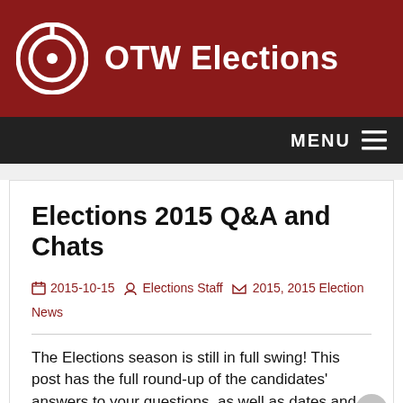OTW Elections
MENU
Elections 2015 Q&A and Chats
2015-10-15   Elections Staff   2015, 2015 Election News
The Elections season is still in full swing! This post has the full round-up of the candidates' answers to your questions, as well as dates and